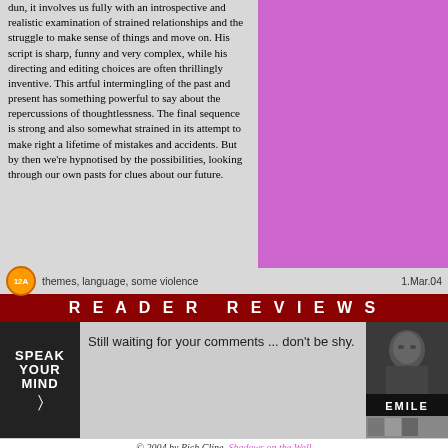dun, it involves us fully with an introspective and realistic examination of strained relationships and the struggle to make sense of things and move on. His script is sharp, funny and very complex, while his directing and editing choices are often thrillingly inventive. This artful intermingling of the past and present has something powerful to say about the repercussions of thoughtlessness. The final sequence is strong and also somewhat strained in its attempt to make right a lifetime of mistakes and accidents. But by then we're hypnotised by the possibilities, looking through our own pasts for clues about our future.
[Figure (other): Purple/magenta background panel on right side]
12A  themes, language, some violence   1.Mar.04
READER REVIEWS
[Figure (illustration): Speak Your Mind icon with cursor]
Still waiting for your comments ... don't be shy.
[Figure (photo): Movie poster for Emile showing a man's face with film strip thumbnails below]
© 2004 by Rich Cline, Shadows on the Wall
HOME | REVIEWS | NEWS | FESTIVAL | AWARDS | Q&A | ABOUT | TALKBACK